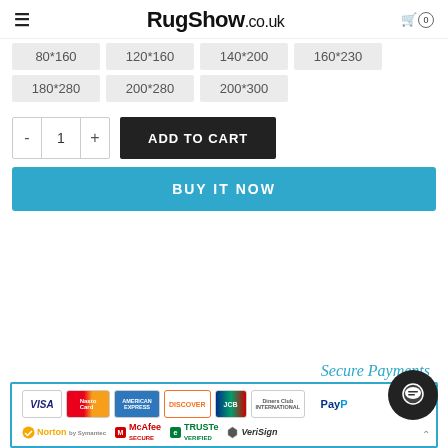RugShow.co.uk
80*160
120*160
140*200
160*230
180*280
200*280
200*300
- 1 + ADD TO CART
BUY IT NOW
[Figure (infographic): Secure Payments badge area with payment method logos: VISA, Mastercard, American Express, Discover, JCB, Diners Club, PayPal, Norton by Symantec, McAfee Secure, TRUSTe Verified, VeriSign]